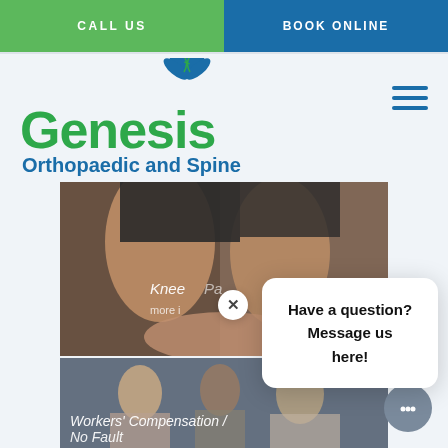CALL US | BOOK ONLINE
[Figure (logo): Genesis Orthopaedic and Spine logo with blue lotus flower and DNA strand, green Genesis text, blue subtitle]
[Figure (photo): Close-up photo of hands examining a knee joint, with text overlay 'Knee Pain' and 'more info']
Have a question? Message us here!
[Figure (photo): Photo of medical consultation with doctor and patients, text overlay 'Workers' Compensation / No Fault']